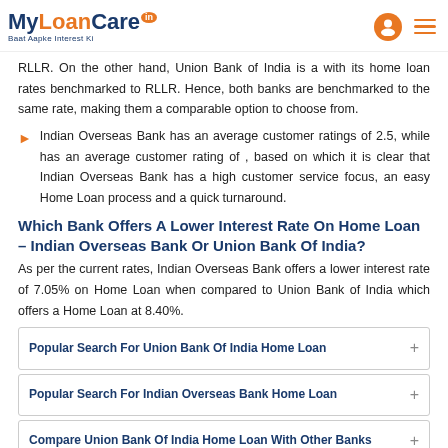MyLoanCare.in - Baat Aapke Interest Ki
RLLR. On the other hand, Union Bank of India is a with its home loan rates benchmarked to RLLR. Hence, both banks are benchmarked to the same rate, making them a comparable option to choose from.
Indian Overseas Bank has an average customer ratings of 2.5, while has an average customer rating of , based on which it is clear that Indian Overseas Bank has a high customer service focus, an easy Home Loan process and a quick turnaround.
Which Bank Offers A Lower Interest Rate On Home Loan – Indian Overseas Bank Or Union Bank Of India?
As per the current rates, Indian Overseas Bank offers a lower interest rate of 7.05% on Home Loan when compared to Union Bank of India which offers a Home Loan at 8.40%.
| Popular Search For Union Bank Of India Home Loan | + |
| --- | --- |
| Popular Search For Indian Overseas Bank Home Loan | + |
| --- | --- |
| Compare Union Bank Of India Home Loan With Other Banks | + |
| --- | --- |
| Compare Indian Overseas Bank Home Loan With Other Banks | + |
| --- | --- |